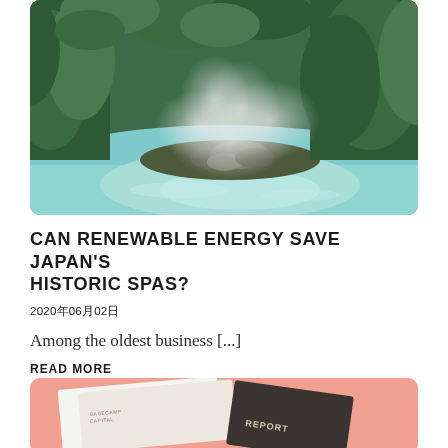[Figure (photo): A geothermal hot spring pool with turquoise-blue water, steam rising, surrounded by lush green trees and rocks]
CAN RENEWABLE ENERGY SAVE JAPAN'S HISTORIC SPAS?
2020年06月02日
Among the oldest business [...]
READ MORE
[Figure (photo): A report booklet with peach/salmon colored background, showing text 'BASECAMP CAPITAL' and 'REPORT' partially visible]